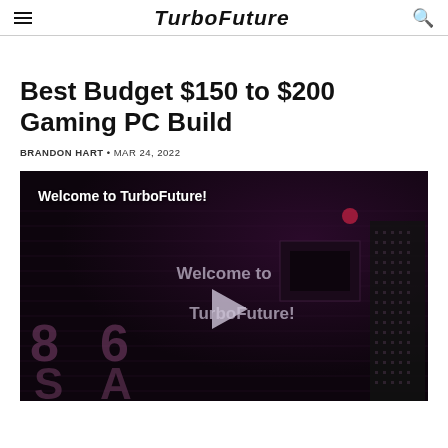TurboFuture
Best Budget $150 to $200 Gaming PC Build
BRANDON HART • MAR 24, 2022
[Figure (screenshot): Video thumbnail showing a dark circuit board background with text 'Welcome to TurboFuture!' in white at top left, a play button in the center with 'Welcome to TurboFuture!' text, and large dimmed numbers '8 6' and letters 'S A' in the lower left.]